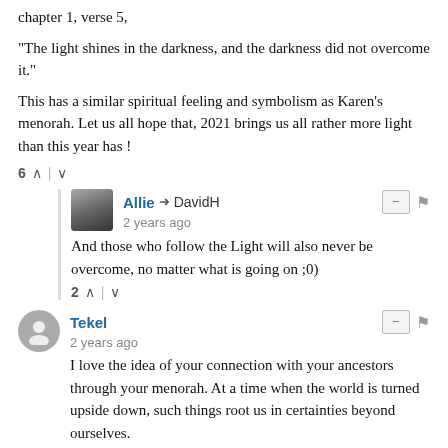chapter 1, verse 5,
"The light shines in the darkness, and the darkness did not overcome it."
This has a similar spiritual feeling and symbolism as Karen's menorah. Let us all hope that, 2021 brings us all rather more light than this year has !
6 ^ | v
Allie → DavidH
2 years ago
And those who follow the Light will also never be overcome, no matter what is going on ;0)
2 ^ | v
Tekel
2 years ago
I love the idea of your connection with your ancestors through your menorah. At a time when the world is turned upside down, such things root us in certainties beyond ourselves.